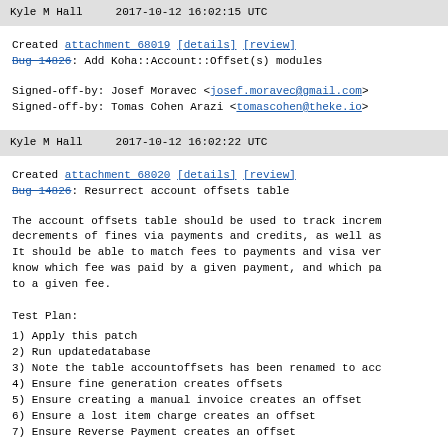Kyle M Hall    2017-10-12 16:02:15 UTC
Created attachment 68019 [details] [review]
Bug 14826: Add Koha::Account::Offset(s) modules
Signed-off-by: Josef Moravec <josef.moravec@gmail.com>
Signed-off-by: Tomas Cohen Arazi <tomascohen@theke.io>
Kyle M Hall    2017-10-12 16:02:22 UTC
Created attachment 68020 [details] [review]
Bug 14826: Resurrect account offsets table
The account offsets table should be used to track increm
decrements of fines via payments and credits, as well as
It should be able to match fees to payments and visa ver
know which fee was paid by a given payment, and which pa
to a given fee.
Test Plan:
1) Apply this patch
2) Run updatedatabase
3) Note the table accountoffsets has been renamed to acc
4) Ensure fine generation creates offsets
5) Ensure creating a manual invoice creates an offset
6) Ensure a lost item charge creates an offset
7) Ensure Reverse Payment creates an offset